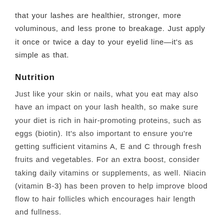that your lashes are healthier, stronger, more voluminous, and less prone to breakage. Just apply it once or twice a day to your eyelid line—it's as simple as that.
Nutrition
Just like your skin or nails, what you eat may also have an impact on your lash health, so make sure your diet is rich in hair-promoting proteins, such as eggs (biotin). It's also important to ensure you're getting sufficient vitamins A, E and C through fresh fruits and vegetables. For an extra boost, consider taking daily vitamins or supplements, as well. Niacin (vitamin B-3) has been proven to help improve blood flow to hair follicles which encourages hair length and fullness.